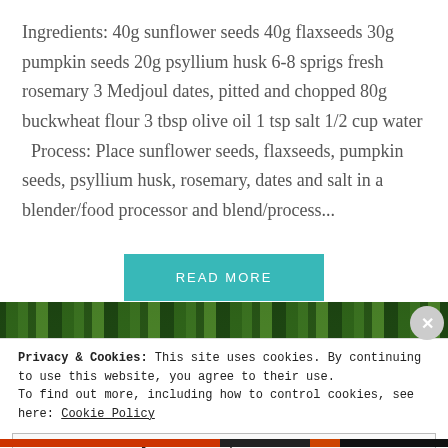Ingredients: 40g sunflower seeds 40g flaxseeds 30g pumpkin seeds 20g psyllium husk 6-8 sprigs fresh rosemary 3 Medjoul dates, pitted and chopped 80g buckwheat flour 3 tbsp olive oil 1 tsp salt 1/2 cup water  Process: Place sunflower seeds, flaxseeds, pumpkin seeds, psyllium husk, rosemary, dates and salt in a blender/food processor and blend/process...
[Figure (other): READ MORE button — teal/turquoise rectangular button with white uppercase text]
[Figure (photo): Partial photo strip showing green plant stems/leaves]
Privacy & Cookies: This site uses cookies. By continuing to use this website, you agree to their use. To find out more, including how to control cookies, see here: Cookie Policy
Close and accept